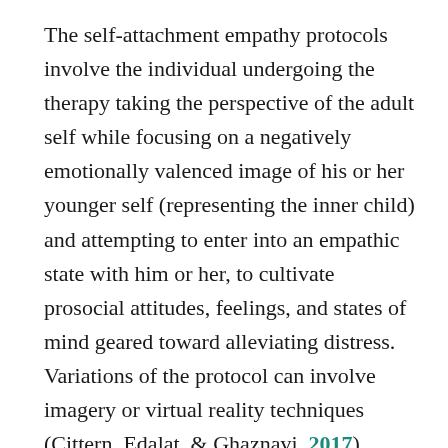The self-attachment empathy protocols involve the individual undergoing the therapy taking the perspective of the adult self while focusing on a negatively emotionally valenced image of his or her younger self (representing the inner child) and attempting to enter into an empathic state with him or her, to cultivate prosocial attitudes, feelings, and states of mind geared toward alleviating distress. Variations of the protocol can involve imagery or virtual reality techniques (Cittern, Edalat, & Ghaznavi, 2017), rather than the focus on an actual image of the younger self, to conceptualize the distressed and assistance-requiring inner child.
The effectiveness of the self-attachment empathy protocols is being studied by the...